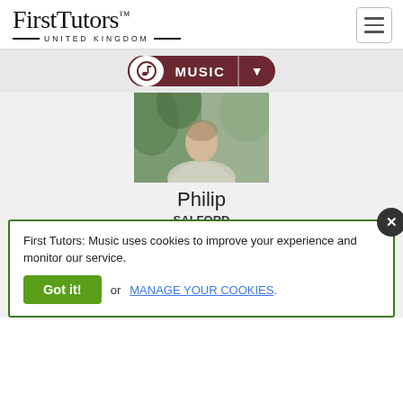FirstTutors UNITED KINGDOM
MUSIC
[Figure (photo): Profile photo of Philip, a music tutor, partially visible from shoulders up against a green outdoor background]
Philip
SALFORD
PIANO, CLARINET, SINGING, ORGAN
BACHELORS: MUSIC (2016)
I have graduated from RNCM (Masters of Music) in singing, but I started my musical education at Wells Cathedral School (Specialist Music School) where I learnt Piano, Clarinet and Organ to ver...
First Tutors: Music uses cookies to improve your experience and monitor our service. Got it! or MANAGE YOUR COOKIES.